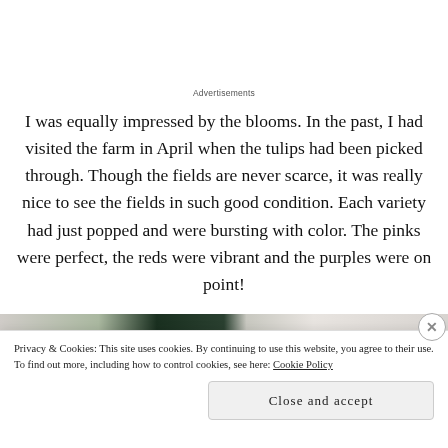Advertisements
I was equally impressed by the blooms. In the past, I had visited the farm in April when the tulips had been picked through. Though the fields are never scarce, it was really nice to see the fields in such good condition. Each variety had just popped and were bursting with color. The pinks were perfect, the reds were vibrant and the purples were on point!
[Figure (photo): A photo strip showing tulip fields with blurred/cropped images of people and flowers in a garden setting]
Privacy & Cookies: This site uses cookies. By continuing to use this website, you agree to their use.
To find out more, including how to control cookies, see here: Cookie Policy
Close and accept